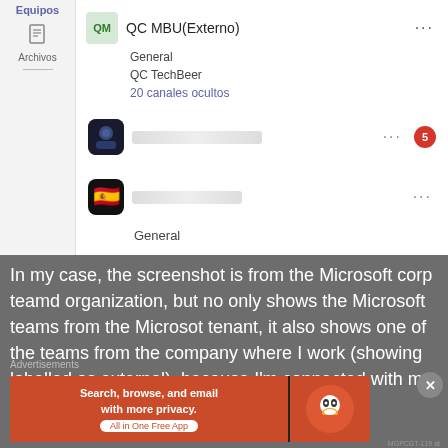[Figure (screenshot): Microsoft Teams sidebar screenshot showing QC MBU(Externo) team with General and QC TechBeer channels, 20 canales ocultos, and two other teams with blurred names. Left sidebar shows Equipos and Archivos icons.]
In my case, the screenshot is from the Microsoft corp teamd organization, but no only shows the Microsoft teams from the Microsot tenant, it also shows one of the teams from the company where I work (showing labelled as external), because I'm connected with my
Advertisements
[Figure (screenshot): DuckDuckGo advertisement banner: Search, browse, and email with more privacy. All in One Free App]